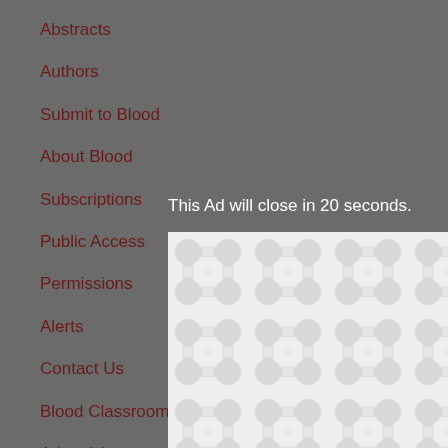Abstracts
Authors
Submit to Blood
About Blood
Subscriptions
Public Access
Permissions
Alerts
Contact Us
Blood Classroom
Advertising
Terms and Conditions
Twitter
This Ad will close in 20 seconds.
[Figure (other): Advertisement overlay with a pattern of interconnected circular/blob shapes in light grey on white background, with a close (X) button]